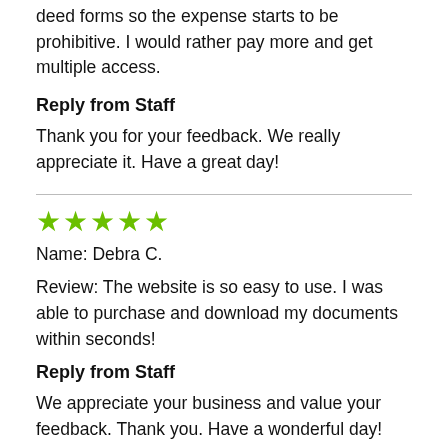deed forms so the expense starts to be prohibitive. I would rather pay more and get multiple access.
Reply from Staff
Thank you for your feedback. We really appreciate it. Have a great day!
[Figure (other): Five green star rating icons]
Name: Debra C.
Review: The website is so easy to use. I was able to purchase and download my documents within seconds!
Reply from Staff
We appreciate your business and value your feedback. Thank you. Have a wonderful day!